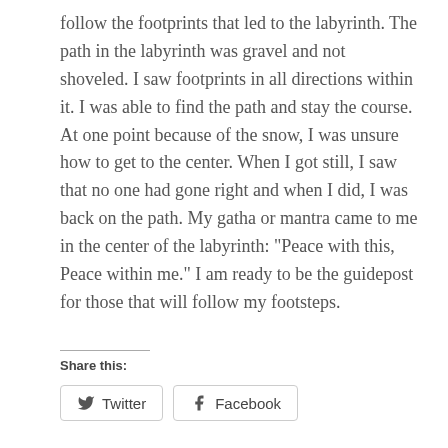follow the footprints that led to the labyrinth. The path in the labyrinth was gravel and not shoveled. I saw footprints in all directions within it. I was able to find the path and stay the course. At one point because of the snow, I was unsure how to get to the center. When I got still, I saw that no one had gone right and when I did, I was back on the path. My gatha or mantra came to me in the center of the labyrinth: “Peace with this, Peace within me.” I am ready to be the guidepost for those that will follow my footsteps.
Share this: